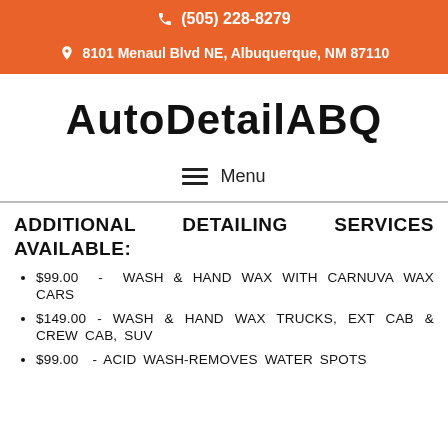(505) 228-8279
8101 Menaul Blvd NE, Albuquerque, NM 87110
AutoDetailABQ
Menu
ADDITIONAL DETAILING SERVICES AVAILABLE:
$99.00 - WASH & HAND WAX WITH CARNUVA WAX CARS
$149.00 - WASH & HAND WAX TRUCKS, EXT CAB & CREW CAB, SUV
$99.00 - ACID WASH-REMOVES WATER SPOTS